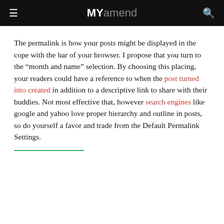MYamend
The permalink is how your posts might be displayed in the cope with the bar of your browser. I propose that you turn to the “month and name” selection. By choosing this placing, your readers could have a reference to when the post turned into created in addition to a descriptive link to share with their buddies. Not most effective that, however search engines like google and yahoo love proper hierarchy and outline in posts, so do yourself a favor and trade from the Default Permalink Settings.